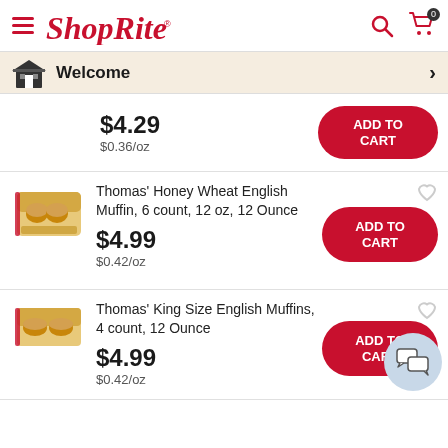ShopRite
Welcome
$4.29
$0.36/oz
ADD TO CART
Thomas' Honey Wheat English Muffin, 6 count, 12 oz, 12 Ounce
$4.99
$0.42/oz
ADD TO CART
Thomas' King Size English Muffins, 4 count, 12 Ounce
$4.99
$0.42/oz
ADD TO CART